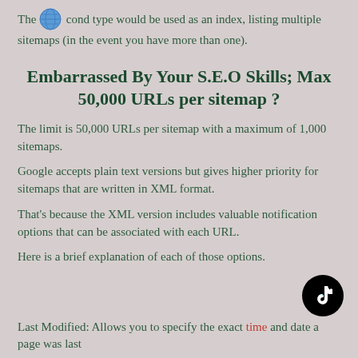The second type would be used as an index, listing multiple sitemaps (in the event you have more than one).
Embarrassed By Your S.E.O Skills; Max 50,000 URLs per sitemap ?
The limit is 50,000 URLs per sitemap with a maximum of 1,000 sitemaps.
Google accepts plain text versions but gives higher priority for sitemaps that are written in XML format.
That's because the XML version includes valuable notification options that can be associated with each URL.
Here is a brief explanation of each of those options.
Last Modified: Allows you to specify the exact time and date a page was last...